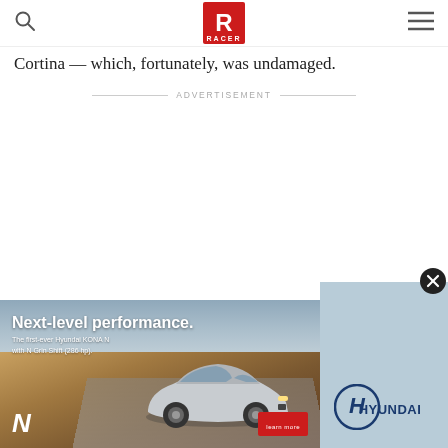RACER logo with search and menu icons
Cortina — which, fortunately, was undamaged.
ADVERTISEMENT
[Figure (photo): Advertisement banner for Hyundai KONA N. Left portion shows a silver Hyundai KONA N SUV driving on a desert road with text 'Next-level performance. The first-ever Hyundai KONA N with N Grin Shift (286 hp).' and the N brand logo. Right portion shows light blue panel with Hyundai logo and wordmark.]